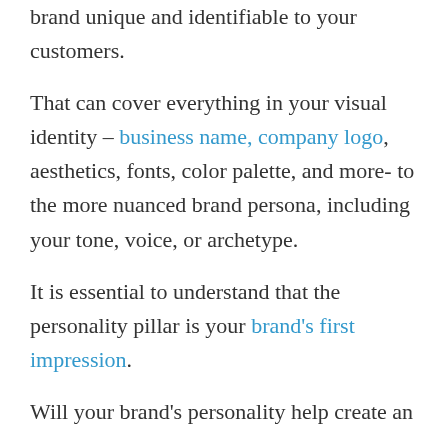brand unique and identifiable to your customers.
That can cover everything in your visual identity – business name, company logo, aesthetics, fonts, color palette, and more- to the more nuanced brand persona, including your tone, voice, or archetype.
It is essential to understand that the personality pillar is your brand's first impression.
Will your brand's personality help create an